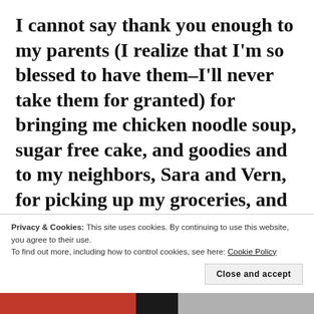I cannot say thank you enough to my parents (I realize that I'm so blessed to have them–I'll never take them for granted) for bringing me chicken noodle soup, sugar free cake, and goodies and to my neighbors, Sara and Vern, for picking up my groceries, and my friend, Rita, for bringing medicine. My friend, Nicky, for helping, and my other friends and family who checked on me. To my WP family and friends–thank you for hanging in here with me and wishing me
Privacy & Cookies: This site uses cookies. By continuing to use this website, you agree to their use.
To find out more, including how to control cookies, see here: Cookie Policy
Close and accept